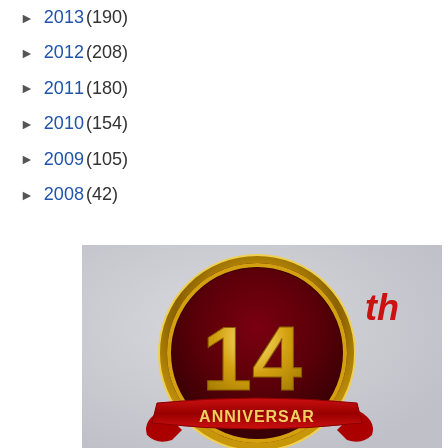► 2013 (190)
► 2012 (208)
► 2011 (180)
► 2010 (154)
► 2009 (105)
► 2008 (42)
[Figure (illustration): 14th Anniversary badge with gold medal circle on dark red background, red ribbon banner at bottom with ANNIVERSARY text, 'th' text in red to the right, on a light gray background]